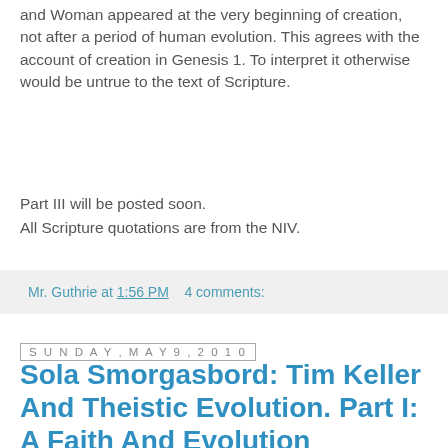and Woman appeared at the very beginning of creation, not after a period of human evolution. This agrees with the account of creation in Genesis 1. To interpret it otherwise would be untrue to the text of Scripture.
Part III will be posted soon.
All Scripture quotations are from the NIV.
Mr. Guthrie at 1:56 PM   4 comments:
Sunday, May 9, 2010
Sola Smorgasbord: Tim Keller And Theistic Evolution. Part I: A Faith And Evolution Reconcilation?
Tim Keller is the pastor of The Redeemer Presbyterian Church in Manhattan. While pastoring his own church, he has been influential in planting numerous churches in New York City. Most of these church-plants are not even of his own theological conviction. Of these 65 church-plants, only